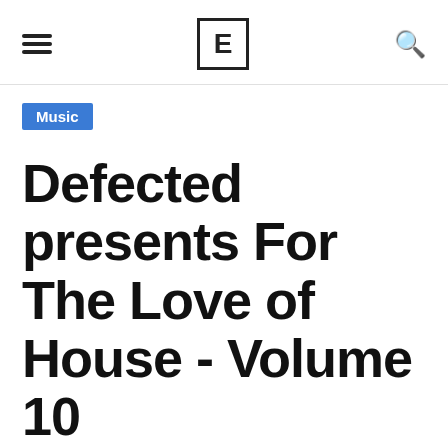☰ E 🔍
Music
Defected presents For The Love of House - Volume 10
Defected's esteemed For The Love Of House series reaches a significant landmark with Volume 10